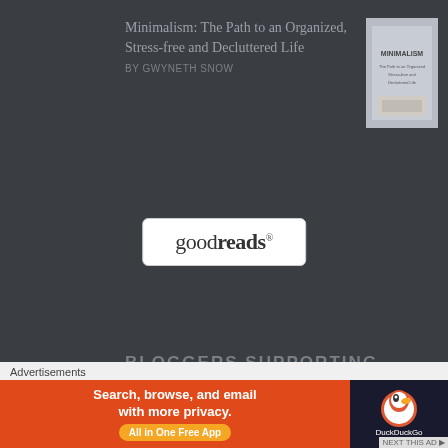Minimalism: The Path to an Organized, Stress-free and Decluttered Life
BY GWYNETH SNOW
[Figure (photo): Book cover for Minimalism: The Path to an Organized, Stress-free and Decluttered Life by Gwyneth Snow]
[Figure (logo): Goodreads logo in a white rounded rectangle box]
BLOGGERS SUPPORTING BLOGGERS
[Figure (photo): Red wax seal stamp on light background, reads 'A PROUD MEMBER OF theWriteReads']
Advertisements
[Figure (screenshot): DuckDuckGo advertisement: 'Search, browse, and email with more privacy. All in One Free App' with DuckDuckGo duck logo on dark background]